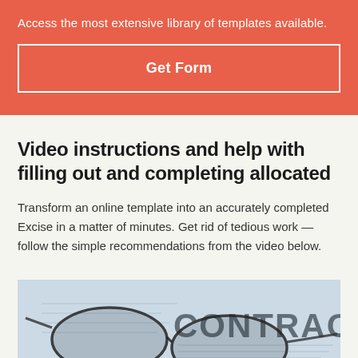Access the most extensive library of templates available.
Get Form
Video instructions and help with filling out and completing allocated
Transform an online template into an accurately completed Excise in a matter of minutes. Get rid of tedious work — follow the simple recommendations from the video below.
[Figure (photo): Photo of eyeglasses resting on a document with the word CONTRACT printed prominently in large letters, with legal text visible underneath.]